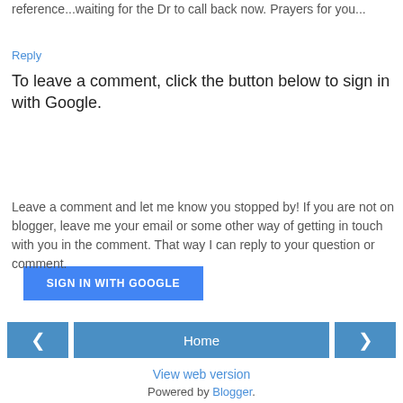reference...waiting for the Dr to call back now. Prayers for you...
Reply
To leave a comment, click the button below to sign in with Google.
[Figure (other): SIGN IN WITH GOOGLE button - blue rectangular button with white uppercase text]
Leave a comment and let me know you stopped by! If you are not on blogger, leave me your email or some other way of getting in touch with you in the comment. That way I can reply to your question or comment.
[Figure (other): Navigation bar with left arrow button, Home button, and right arrow button]
View web version
Powered by Blogger.